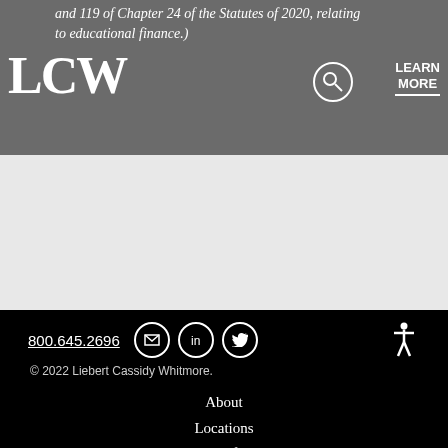and 119 of Chapter 24 of the Statutes of 2020, relating to educational finance.)
[Figure (logo): LCW logo in white serif font on gray background]
800.645.2696 | email | LinkedIn | Twitter | Accessibility
© 2022 Liebert Cassidy Whitmore.
About
Locations
Terms of Use
Privacy Policy
Accessibility Statement